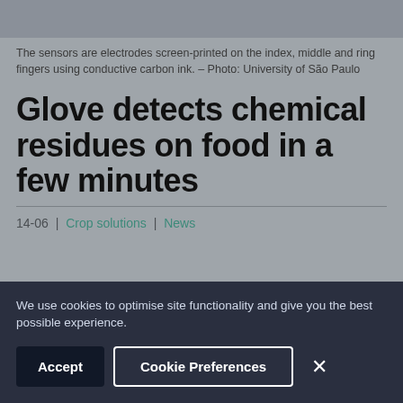[Figure (photo): Top portion of a photo showing a glove with electrodes screen-printed on fingers, cropped and partially visible]
The sensors are electrodes screen-printed on the index, middle and ring fingers using conductive carbon ink. – Photo: University of São Paulo
Glove detects chemical residues on food in a few minutes
14-06 | Crop solutions | News
We use cookies to optimise site functionality and give you the best possible experience.